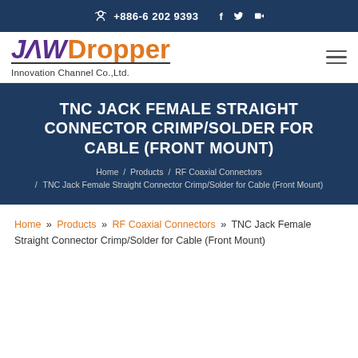+886-6 202 9393
[Figure (logo): JAW Dropper Innovation Channel Co.,Ltd. logo with purple JAW text and orange Dropper text]
TNC JACK FEMALE STRAIGHT CONNECTOR CRIMP/SOLDER FOR CABLE (FRONT MOUNT)
Home / Products / RF Coaxial Connectors / TNC Jack Female Straight Connector Crimp/Solder for Cable (Front Mount)
Home » Products » RF Coaxial Connectors » TNC Jack Female Straight Connector Crimp/Solder for Cable (Front Mount)